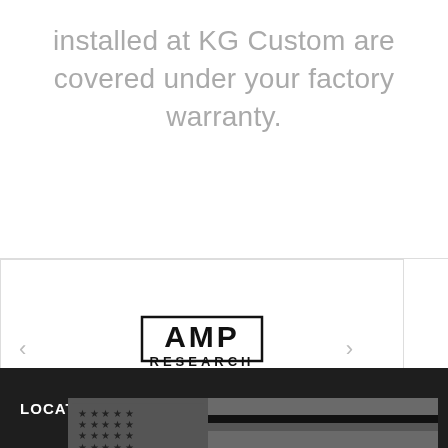installed at KG Custom are covered under your factory warranty.
[Figure (logo): AMP Research logo — bold block letters 'AMP' above 'RESEARCH' with double underline]
LOCATIONS SERVED
[Figure (illustration): Dark grayscale American flag with thin black stripe (thin blue line / thin black line flag style)]